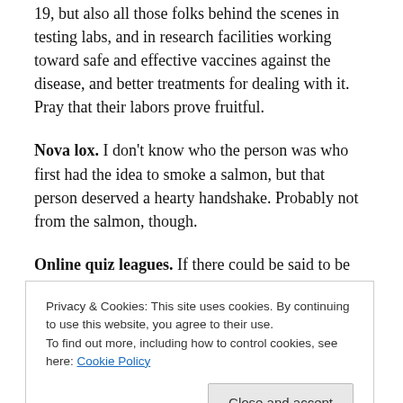19, but also all those folks behind the scenes in testing labs, and in research facilities working toward safe and effective vaccines against the disease, and better treatments for dealing with it. Pray that their labors prove fruitful.
Nova lox. I don't know who the person was who first had the idea to smoke a salmon, but that person deserved a hearty handshake. Probably not from the salmon, though.
Online quiz leagues. If there could be said to be an actual upside from the pandemic, it has been the
Privacy & Cookies: This site uses cookies. By continuing to use this website, you agree to their use.
To find out more, including how to control cookies, see here: Cookie Policy
based in the UK and comprising teams and players